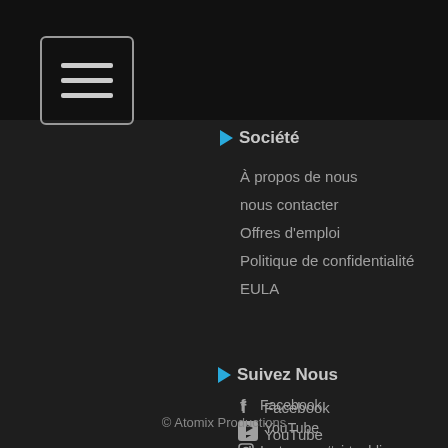[Figure (screenshot): Navigation menu hamburger button (three horizontal lines in a bordered rectangle) in the top-left header area]
Société
À propos de nous
nous contacter
Offres d'emploi
Politique de confidentialité
EULA
Suivez Nous
Facebook
YouTube
Instagram #virtualdj
Twitter #virtualdj
© Atomix Productions